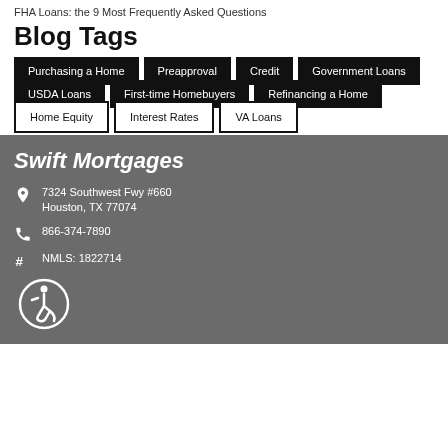FHA Loans: the 9 Most Frequently Asked Questions
Blog Tags
Purchasing a Home
Preapproval
Credit
Government Loans
USDA Loans
First-time Homebuyers
Refinancing a Home
Home Equity
Interest Rates
VA Loans
Swift Mortgages
7324 Southwest Fwy #660 Houston, TX 77074
866-374-7890
NMLS: 1822714
[Figure (illustration): Accessibility/wheelchair icon in a circle outline]